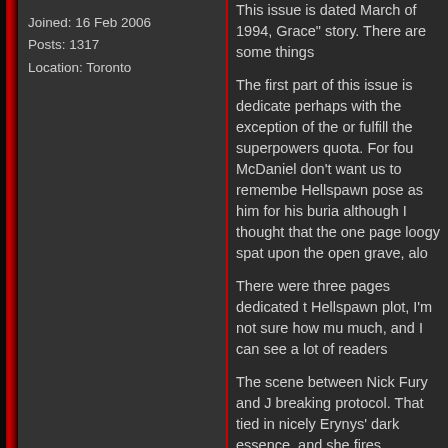Joined: 16 Feb 2006
Posts: 1317
Location: Toronto
This issue is dated March of 1994, Grace" story. There are some things
The first part of this issue is dedicate perhaps with the exception of the or fulfill the superpowers quota. For fou McDaniel don't want us to remembe Hellspawn pose as him for his buria although I thought that the one page loogy spat upon the open grave, alo
There were three pages dedicated t Hellspawn plot, I'm not sure how mu much, and I can see a lot of readers
The scene between Nick Fury and J breaking protocol. That tied in nicely Erynys' dark essence, and she fires Unfortunately it seems like inker Hee looks completely unfinished.
As for the story which is actually kick technology, it's kind of ridiculous. I d to take the place of an automatic tell machine, it's comical to imagine him